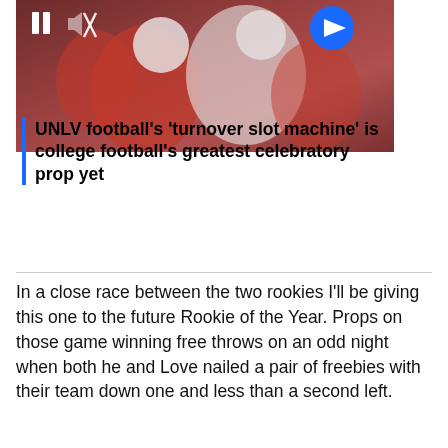[Figure (screenshot): Video thumbnail showing football players with pause, mute, and next arrow controls overlay]
UNLV football’s ‘turnover slot machine’ is college football’s greatest celebratory prop yet
In a close race between the two rookies I'll be giving this one to the future Rookie of the Year. Props on those game winning free throws on an odd night when both he and Love nailed a pair of freebies with their team down one and less than a second left.
| Ricky Rubio |
|  |